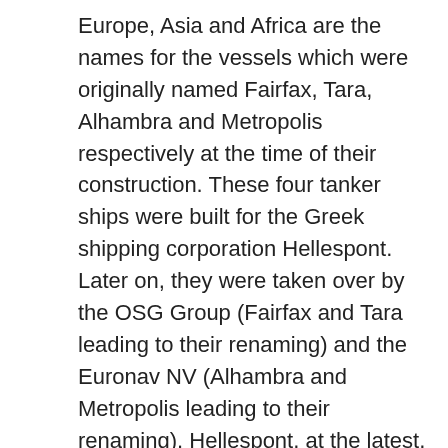Europe, Asia and Africa are the names for the vessels which were originally named Fairfax, Tara, Alhambra and Metropolis respectively at the time of their construction. These four tanker ships were built for the Greek shipping corporation Hellespont. Later on, they were taken over by the OSG Group (Fairfax and Tara leading to their renaming) and the Euronav NV (Alhambra and Metropolis leading to their renaming). Hellespont, at the latest, has 26 vessels currently operating while a couple more waiting in an order pipeline.
The four largest tankers were built by the South Korean ship builder Daewoo Shipbuilding and Marine Engineering. One of the most important reasons why these four ULCC are well-known among the engineers and historians of the rest of